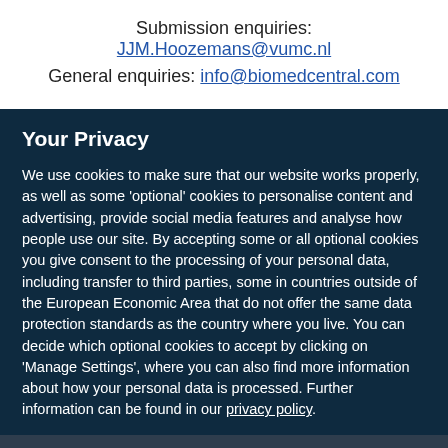Submission enquiries: JJM.Hoozemans@vumc.nl
General enquiries: info@biomedcentral.com
Your Privacy
We use cookies to make sure that our website works properly, as well as some ‘optional’ cookies to personalise content and advertising, provide social media features and analyse how people use our site. By accepting some or all optional cookies you give consent to the processing of your personal data, including transfer to third parties, some in countries outside of the European Economic Area that do not offer the same data protection standards as the country where you live. You can decide which optional cookies to accept by clicking on ‘Manage Settings’, where you can also find more information about how your personal data is processed. Further information can be found in our privacy policy.
Accept all cookies
Manage preferences